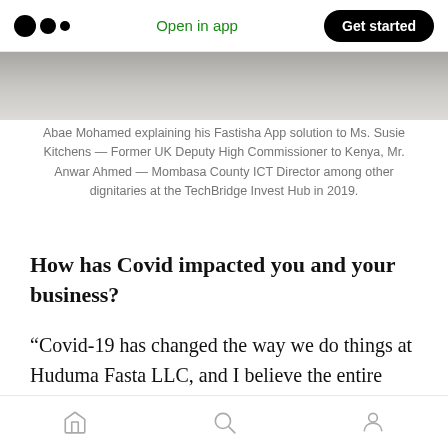Open in app | Get started
[Figure (photo): Partial view of a photo showing a desk/table surface with cables, cropped at top of frame.]
Abae Mohamed explaining his Fastisha App solution to Ms. Susie Kitchens — Former UK Deputy High Commissioner to Kenya, Mr. Anwar Ahmed — Mombasa County ICT Director among other dignitaries at the TechBridge Invest Hub in 2019.
How has Covid impacted you and your business?
“Covid-19 has changed the way we do things at Huduma Fasta LLC, and I believe the entire business landscape has changed as well. With government restrictions on movement, I was
Home | Search | Profile